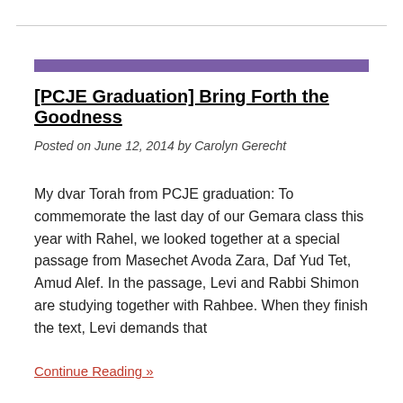[PCJE Graduation] Bring Forth the Goodness
Posted on June 12, 2014 by Carolyn Gerecht
My dvar Torah from PCJE graduation: To commemorate the last day of our Gemara class this year with Rahel, we looked together at a special passage from Masechet Avoda Zara, Daf Yud Tet, Amud Alef. In the passage, Levi and Rabbi Shimon are studying together with Rahbee. When they finish the text, Levi demands that
Continue Reading »